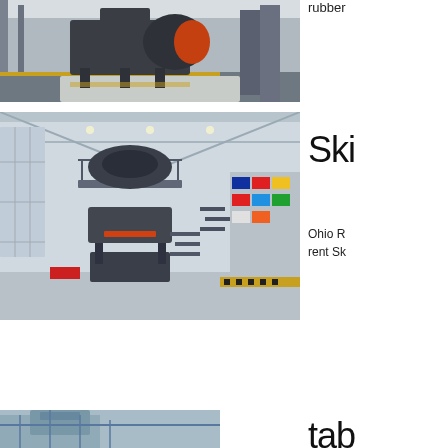[Figure (photo): Industrial shredder/granulator machine on a factory floor with white pellets/granules scattered around it, inside a large industrial facility with high ceilings and metal structure.]
rubber
[Figure (photo): Large vertical shaft impact crusher or similar heavy industrial machine displayed on a tall steel frame structure inside a large exhibition hall or factory. International flags visible in background.]
Ski
Ohio R rent Sk
[Figure (photo): Partial view of industrial machinery, light blue tinted, at the bottom of the page.]
tab